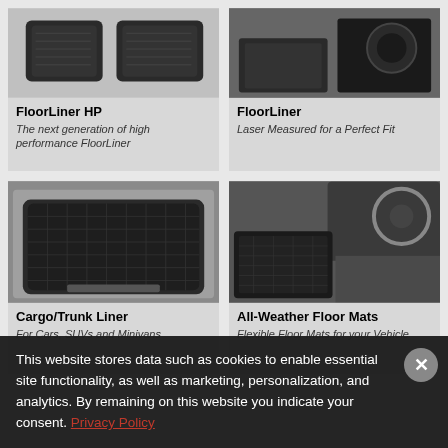[Figure (photo): FloorLiner HP product photo showing black floor liners]
FloorLiner HP
The next generation of high performance FloorLiner
[Figure (photo): FloorLiner product photo showing black floor liner in car]
FloorLiner
Laser Measured for a Perfect Fit
[Figure (photo): Cargo/Trunk Liner photo showing black liner in car trunk]
Cargo/Trunk Liner
For Cars, SUVs and Minivans
[Figure (photo): All-Weather Floor Mats photo showing black mats in car interior]
All-Weather Floor Mats
Flexible Floor Mats for your Vehicle
This website stores data such as cookies to enable essential site functionality, as well as marketing, personalization, and analytics. By remaining on this website you indicate your consent. Privacy Policy